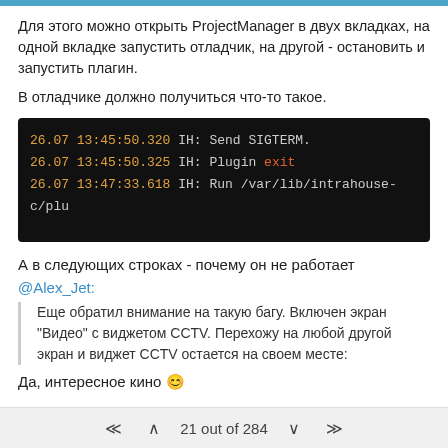Для этого можно открыть ProjectManager в двух вкладках, на одной вкладке запустить отладчик, на другой - остановить и запустить плагин.
В отладчике должно получиться что-то такое.
[Figure (screenshot): Terminal/debug console output showing three lines: '26.07 13:45:50.320 IH: Send SIGTERM.', '26.07 13:45:50.325 IH: Plugin exit', '26.07 13:47:33.618 IH: Run /var/lib/intrahouse-c/plu' on dark background.]
А в следующих строках - почему он не работает
@Alex_Jet:
Еще обратил внимание на такую багу. Включен экран "Видео" с виджетом CCTV. Перехожу на любой другой экран и виджет CCTV остается на своем месте:
Да, интересное кино 😊
21 out of 284